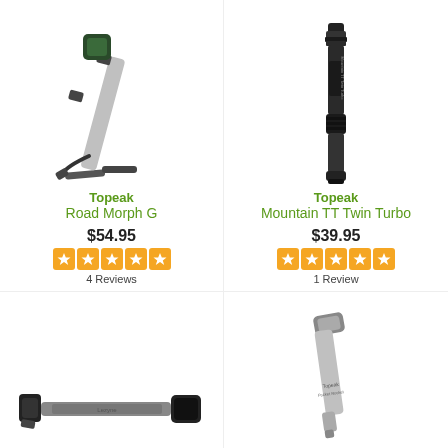[Figure (photo): Topeak Road Morph G bicycle floor pump, silver and black]
Topeak
Road Morph G
$54.95
[Figure (infographic): 5 orange star rating boxes]
4 Reviews
[Figure (photo): Topeak Mountain TT Twin Turbo mini pump, black]
Topeak
Mountain TT Twin Turbo
$39.95
[Figure (infographic): 5 orange star rating boxes]
1 Review
[Figure (photo): Bottom-left bicycle pump, black and silver horizontal pump]
[Figure (photo): Bottom-right bicycle pump, silver with gray grip, Topeak Pocket Rocket]